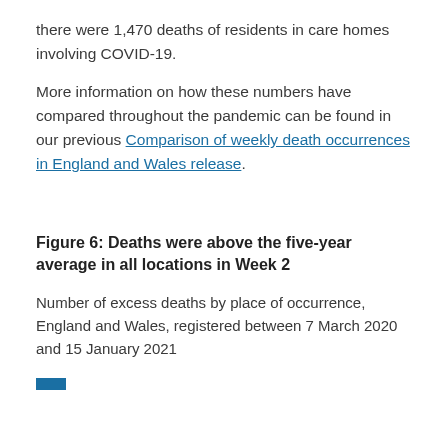there were 1,470 deaths of residents in care homes involving COVID-19.
More information on how these numbers have compared throughout the pandemic can be found in our previous Comparison of weekly death occurrences in England and Wales release.
Figure 6: Deaths were above the five-year average in all locations in Week 2
Number of excess deaths by place of occurrence, England and Wales, registered between 7 March 2020 and 15 January 2021